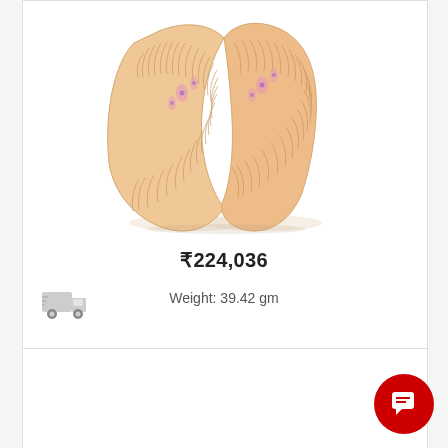[Figure (photo): Two rose gold bangles with intricate filigree/feather-like pattern and floral enamel detailing, displayed on white background]
₹224,036
[Figure (illustration): Gray delivery truck/shipping icon]
Weight: 39.42 gm
[Figure (illustration): Red circular chat/message button in bottom right corner]